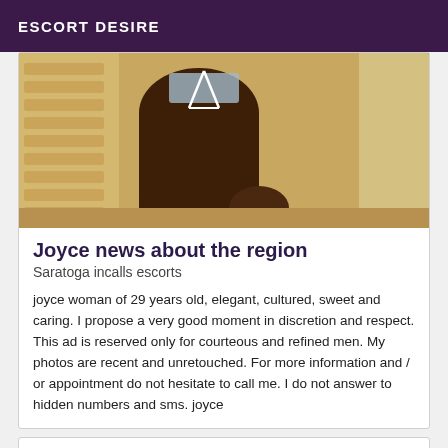ESCORT DESIRE
[Figure (photo): Photo of a person's lower body wearing a light blue bikini bottom, sitting on what appears to be stairs or a textured surface]
Joyce news about the region
Saratoga incalls escorts
joyce woman of 29 years old, elegant, cultured, sweet and caring. I propose a very good moment in discretion and respect. This ad is reserved only for courteous and refined men. My photos are recent and unretouched. For more information and / or appointment do not hesitate to call me. I do not answer to hidden numbers and sms. joyce